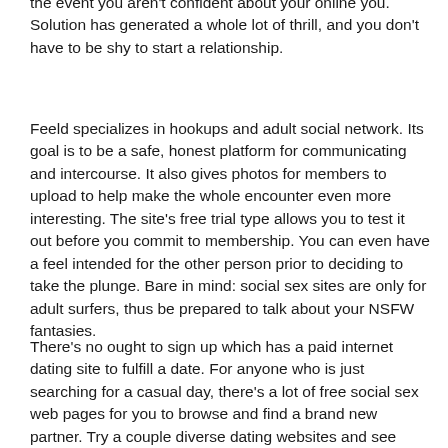the event you aren't confident about your online you. Solution has generated a whole lot of thrill, and you don't have to be shy to start a relationship.
Feeld specializes in hookups and adult social network. Its goal is to be a safe, honest platform for communicating and intercourse. It also gives photos for members to upload to help make the whole encounter even more interesting. The site's free trial type allows you to test it out before you commit to membership. You can even have a feel intended for the other person prior to deciding to take the plunge. Bare in mind: social sex sites are only for adult surfers, thus be prepared to talk about your NSFW fantasies.
There's no ought to sign up which has a paid internet dating site to fulfill a date. For anyone who is just searching for a casual day, there's a lot of free social sex web pages for you to browse and find a brand new partner. Try a couple diverse dating websites and see what works for you. Once you've chosen the best a